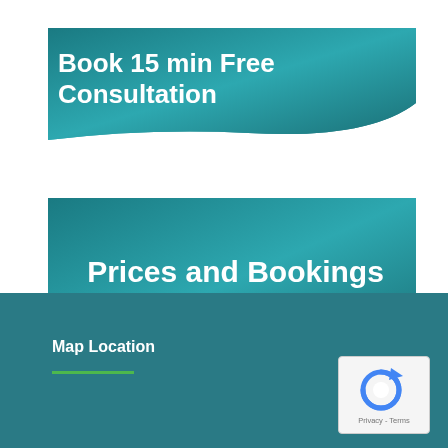Book 15 min Free Consultation
Prices and Bookings
Map Location
[Figure (logo): Google reCAPTCHA logo with circular arrow icon and Privacy - Terms text]